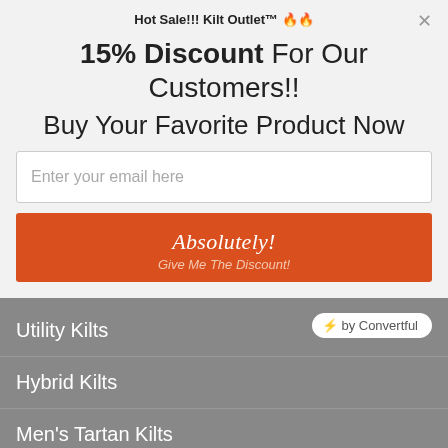Hot Sale!!! Kilt Outlet™ 🔥🔥
15% Discount For Our Customers!!
Buy Your Favorite Product Now
Enter your email here
Absolutely!
Give Me The Discount!
[Figure (logo): Convertful badge with lightning bolt icon]
Utility Kilts
Hybrid Kilts
Men's Tartan Kilts
USEFUL INFORMATION
FA...